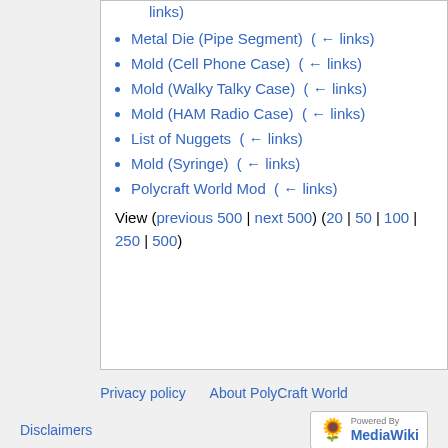links)
Metal Die (Pipe Segment)  ( ← links)
Mold (Cell Phone Case)  ( ← links)
Mold (Walky Talky Case)  ( ← links)
Mold (HAM Radio Case)  ( ← links)
List of Nuggets  ( ← links)
Mold (Syringe)  ( ← links)
Polycraft World Mod  ( ← links)
View (previous 500 | next 500) (20 | 50 | 100 | 250 | 500)
Privacy policy   About PolyCraft World   Disclaimers   Powered By MediaWiki